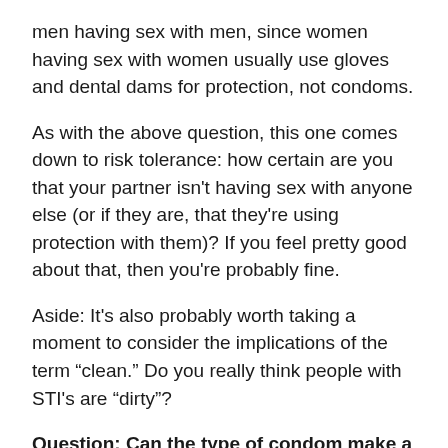men having sex with men, since women having sex with women usually use gloves and dental dams for protection, not condoms.
As with the above question, this one comes down to risk tolerance: how certain are you that your partner isn't having sex with anyone else (or if they are, that they're using protection with them)? If you feel pretty good about that, then you're probably fine.
Aside: It's also probably worth taking a moment to consider the implications of the term “clean.” Do you really think people with STI's are “dirty”?
Question: Can the type of condom make a difference in achieving pleasure? Do studded or not studded actually make a difference? Does ribbing actually make a difference?